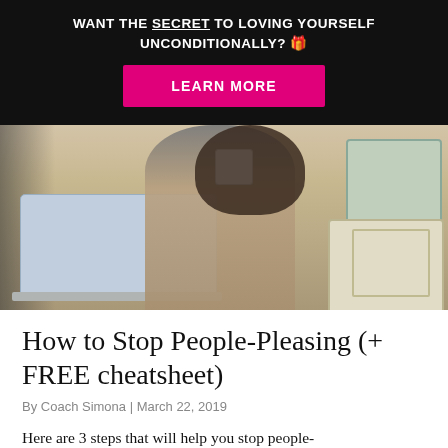[Figure (other): Dark banner with bold white text reading 'WANT THE SECRET TO LOVING YOURSELF UNCONDITIONALLY? 🎁' and a pink button labeled 'LEARN MORE']
[Figure (photo): Photo of a woman sitting on a bed with a laptop, drinking from a white mug, with decorative pillows in the background]
How to Stop People-Pleasing (+ FREE cheatsheet)
By Coach Simona | March 22, 2019
Here are 3 steps that will help you stop people-